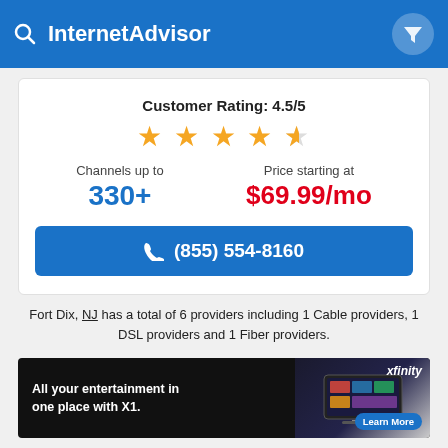InternetAdvisor
Customer Rating: 4.5/5
Channels up to 330+
Price starting at $69.99/mo
(855) 554-8160
Fort Dix, NJ has a total of 6 providers including 1 Cable providers, 1 DSL providers and 1 Fiber providers.
[Figure (infographic): Xfinity advertisement banner: 'All your entertainment in one place with X1.' with TV image and Learn More button]